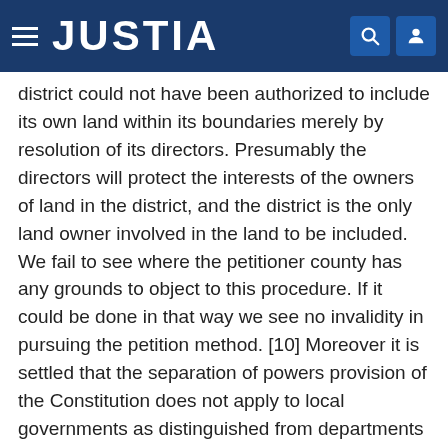JUSTIA
district could not have been authorized to include its own land within its boundaries merely by resolution of its directors. Presumably the directors will protect the interests of the owners of land in the district, and the district is the only land owner involved in the land to be included. We fail to see where the petitioner county has any grounds to object to this procedure. If it could be done in that way we see no invalidity in pursuing the petition method. [10] Moreover it is settled that the separation of powers provision of the Constitution does not apply to local governments as distinguished from departments of the state government. [32 Cal. 2d 477] (Holley v. County of Orange, 106 Cal. 420 [39 P. 790]; 5 Cal.Jur. 660-663.)
It is argued in the brief of amicus curiae that Rock Creek etc. Dist. v. County of Calaveras, supra, holding that the